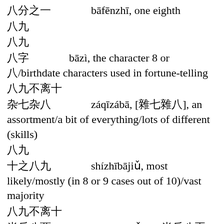八分之一 bāfēnzhī, one eighth
八九
八九
八字 bāzì, the character 8 or 八/birthdate characters used in fortune-telling
八九不离十
杂七杂八 záqīzábā, [雜七雜八], an assortment/a bit of everything/lots of different (skills)
八九
十之八九 shízhībājiǔ, most likely/mostly (in 8 or 9 cases out of 10)/vast majority
八九不离十
半斤八两 bànjīnbāliǎng, [半斤八兩], not much to choose between the two/tweedledum and tweedledee
八九不
乌七八糟 wūqībāzāo, [烏七八糟], everything in